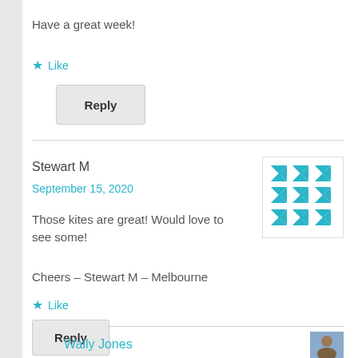Have a great week!
Like
Reply
Stewart M
September 15, 2020
[Figure (illustration): Teal/cyan geometric quilt-pattern avatar icon with repeating star/pinwheel shapes on white background]
Those kites are great! Would love to see some!
Cheers – Stewart M – Melbourne
Like
Reply
Wally Jones